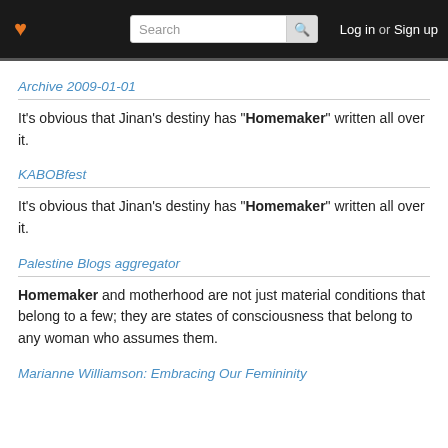❤  Search  Log in or Sign up
Archive 2009-01-01
It's obvious that Jinan's destiny has "Homemaker" written all over it.
KABOBfest
It's obvious that Jinan's destiny has "Homemaker" written all over it.
Palestine Blogs aggregator
Homemaker and motherhood are not just material conditions that belong to a few; they are states of consciousness that belong to any woman who assumes them.
Marianne Williamson: Embracing Our Femininity